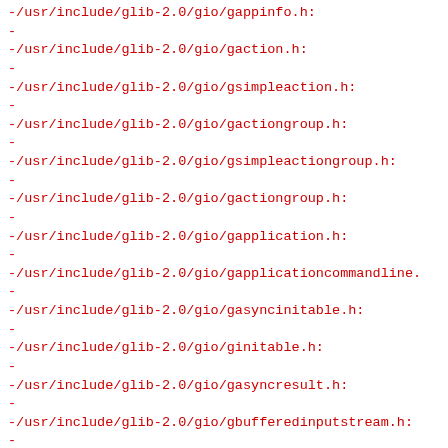-/usr/include/glib-2.0/gio/gappinfo.h:
-
-/usr/include/glib-2.0/gio/gaction.h:
-
-/usr/include/glib-2.0/gio/gsimpleaction.h:
-
-/usr/include/glib-2.0/gio/gactiongroup.h:
-
-/usr/include/glib-2.0/gio/gsimpleactiongroup.h:
-
-/usr/include/glib-2.0/gio/gactiongroup.h:
-
-/usr/include/glib-2.0/gio/gapplication.h:
-
-/usr/include/glib-2.0/gio/gapplicationcommandline.
-
-/usr/include/glib-2.0/gio/gasyncinitable.h:
-
-/usr/include/glib-2.0/gio/ginitable.h:
-
-/usr/include/glib-2.0/gio/gasyncresult.h:
-
-/usr/include/glib-2.0/gio/gbufferedinputstream.h:
-
-/usr/include/glib-2.0/gio/gfilterinputstream.h:
-
-/usr/include/glib-2.0/gio/ginputstream.h:
-
-/usr/include/glib-2.0/gio/gbufferedoutputstream.h:
-